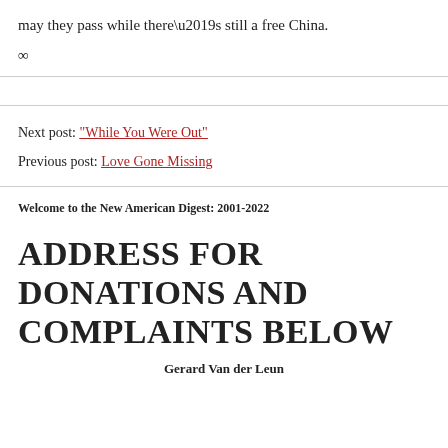may they pass while there’s still a free China.
∞
Next post: “While You Were Out”
Previous post: Love Gone Missing
Welcome to the New American Digest: 2001-2022
ADDRESS FOR DONATIONS AND COMPLAINTS BELOW
Gerard Van der Leun